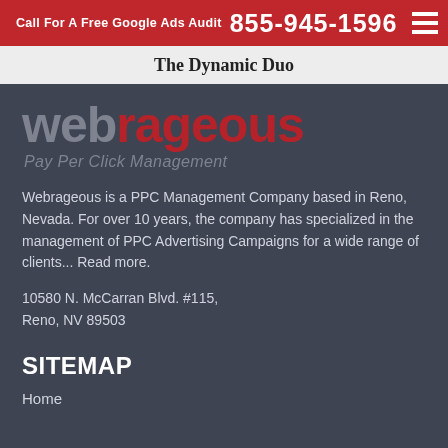Call For A Free Google Ads Audit  855-945-1596
The Dynamic Duo
[Figure (logo): Webrageous logo with text 'web' in gray and 'rageous' in dark red, with tagline 'Pay Per Click Management' in italic gray below]
Webrageous is a PPC Management Company based in Reno, Nevada. For over 10 years, the company has specialized in the management of PPC Advertising Campaigns for a wide range of clients... Read more.
10580 N. McCarran Blvd. #115,
Reno, NV 89503
SITEMAP
Home